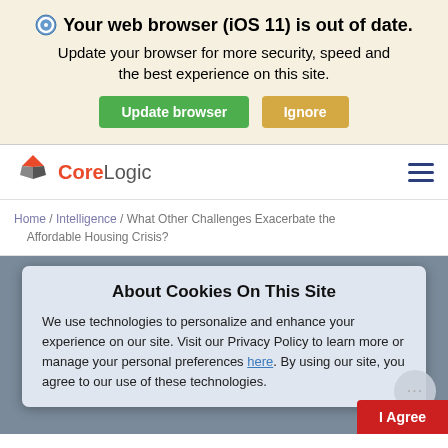Your web browser (iOS 11) is out of date. Update your browser for more security, speed and the best experience on this site. Update browser | Ignore
[Figure (logo): CoreLogic logo with red diamond and gray geometric shapes]
Home / Intelligence / What Other Challenges Exacerbate the Affordable Housing Crisis?
About Cookies On This Site
We use technologies to personalize and enhance your experience on our site. Visit our Privacy Policy to learn more or manage your personal preferences here. By using our site, you agree to our use of these technologies.
I Agree